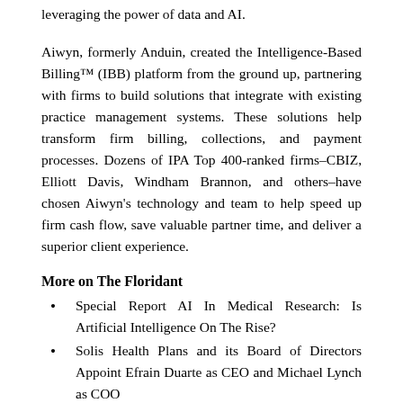leveraging the power of data and AI.
Aiwyn, formerly Anduin, created the Intelligence-Based Billing™ (IBB) platform from the ground up, partnering with firms to build solutions that integrate with existing practice management systems. These solutions help transform firm billing, collections, and payment processes. Dozens of IPA Top 400-ranked firms–CBIZ, Elliott Davis, Windham Brannon, and others–have chosen Aiwyn's technology and team to help speed up firm cash flow, save valuable partner time, and deliver a superior client experience.
More on The Floridant
Special Report AI In Medical Research: Is Artificial Intelligence On The Rise?
Solis Health Plans and its Board of Directors Appoint Efrain Duarte as CEO and Michael Lynch as COO
Mom of injured child pens beautiful picture book telling kids life is full of big dreams and endless